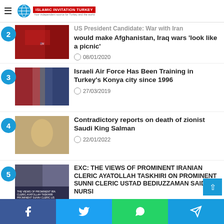Islamic Invitation Turkey
US President Candidate: War with Iran would make Afghanistan, Iraq wars 'look like a picnic' — 08/01/2020
Israeli Air Force Has Been Training in Turkey's Konya city since 1996 — 27/03/2019
Contradictory reports on death of zionist Saudi King Salman — 22/01/2022
EXC: THE VIEWS OF PROMINENT IRANIAN CLERIC AYATOLLAH TASKHIRI ON PROMINENT SUNNI CLERIC USTAD BEDIUZZAMAN SAID NURSI — 11/04/2019
Facebook | Twitter | WhatsApp | Telegram